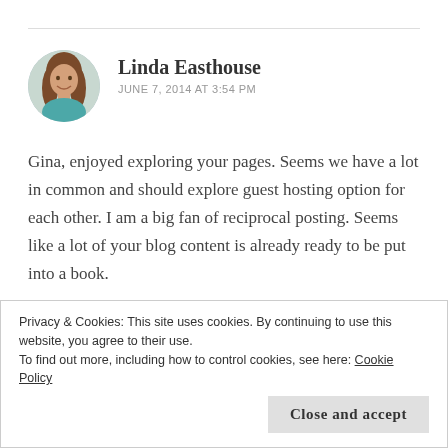[Figure (photo): Circular avatar photo of Linda Easthouse, a woman with long brown hair wearing a teal top]
Linda Easthouse
JUNE 7, 2014 AT 3:54 PM
Gina, enjoyed exploring your pages. Seems we have a lot in common and should explore guest hosting option for each other. I am a big fan of reciprocal posting. Seems like a lot of your blog content is already ready to be put into a book.
Like
Privacy & Cookies: This site uses cookies. By continuing to use this website, you agree to their use.
To find out more, including how to control cookies, see here: Cookie Policy
Close and accept
[Figure (photo): Partial circular avatar at bottom of page]
www.ginabriganti.com